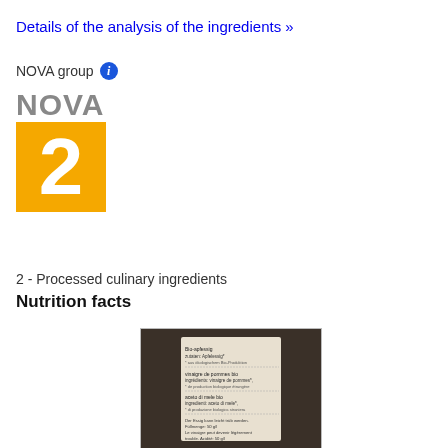Details of the analysis of the ingredients »
NOVA group
[Figure (infographic): NOVA group 2 badge: gray text 'NOVA' above a yellow square with large white number '2']
2 - Processed culinary ingredients
Nutrition facts
[Figure (photo): Photo of a product bottle label showing multilingual text including 'vinaigre de pommes bio' and 'aceto di mele bio']